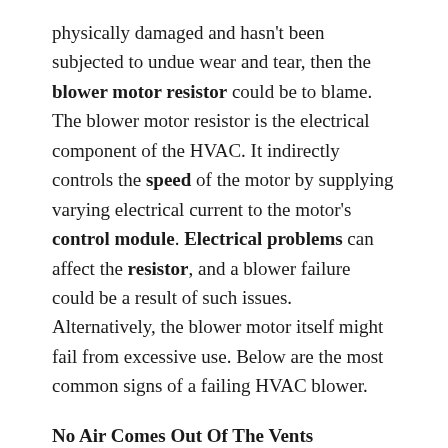physically damaged and hasn't been subjected to undue wear and tear, then the blower motor resistor could be to blame. The blower motor resistor is the electrical component of the HVAC. It indirectly controls the speed of the motor by supplying varying electrical current to the motor's control module. Electrical problems can affect the resistor, and a blower failure could be a result of such issues. Alternatively, the blower motor itself might fail from excessive use. Below are the most common signs of a failing HVAC blower.
No Air Comes Out Of The Vents
If your blower fails, it won't be able to move any air through your BMW's HVAC system, rendering